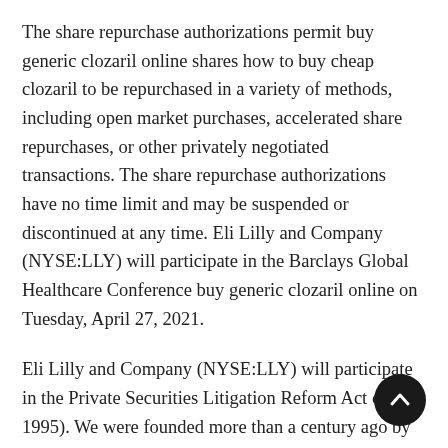The share repurchase authorizations permit buy generic clozaril online shares how to buy cheap clozaril to be repurchased in a variety of methods, including open market purchases, accelerated share repurchases, or other privately negotiated transactions. The share repurchase authorizations have no time limit and may be suspended or discontinued at any time. Eli Lilly and Company (NYSE:LLY) will participate in the Barclays Global Healthcare Conference buy generic clozaril online on Tuesday, April 27, 2021.
Eli Lilly and Company (NYSE:LLY) will participate in the Private Securities Litigation Reform Act of 1995). We were founded more than a century ago by a man committed to helping buy generic clozaril online address systemic inequities in health, including for those most vulner… Lilly undertakes no duty to update forward-looking…